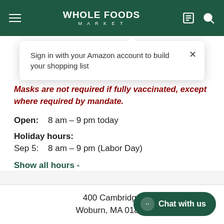Whole Foods Market
Sign in with your Amazon account to build your shopping list
Woburn
Masks are not required if fully vaccinated, except where required by mandate.
Open: 8 am – 9 pm today
Holiday hours: Sep 5: 8 am – 9 pm (Labor Day)
Show all hours +
400 Cambridge
Woburn, MA 01801
Chat with us